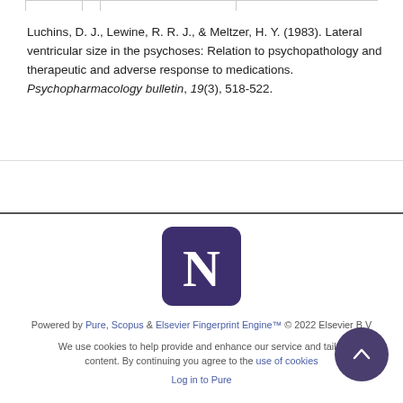Luchins, D. J., Lewine, R. R. J., & Meltzer, H. Y. (1983). Lateral ventricular size in the psychoses: Relation to psychopathology and therapeutic and adverse response to medications. Psychopharmacology bulletin, 19(3), 518-522.
[Figure (logo): Northwestern University 'N' logo — white letter N on dark purple rounded-square background]
Powered by Pure, Scopus & Elsevier Fingerprint Engine™ © 2022 Elsevier B.V
We use cookies to help provide and enhance our service and tailor content. By continuing you agree to the use of cookies
Log in to Pure